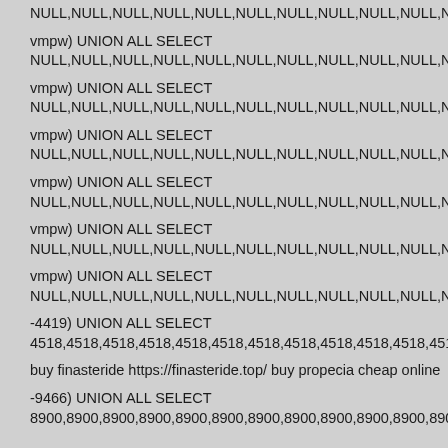NULL,NULL,NULL,NULL,NULL,NULL,NULL,NULL,NULL,NULL,NUL
vmpw) UNION ALL SELECT
NULL,NULL,NULL,NULL,NULL,NULL,NULL,NULL,NULL,NULL,NUL
vmpw) UNION ALL SELECT
NULL,NULL,NULL,NULL,NULL,NULL,NULL,NULL,NULL,NULL,NUL
vmpw) UNION ALL SELECT
NULL,NULL,NULL,NULL,NULL,NULL,NULL,NULL,NULL,NULL,NUL
vmpw) UNION ALL SELECT
NULL,NULL,NULL,NULL,NULL,NULL,NULL,NULL,NULL,NULL,NUL
vmpw) UNION ALL SELECT
NULL,NULL,NULL,NULL,NULL,NULL,NULL,NULL,NULL,NULL,NUL
vmpw) UNION ALL SELECT
NULL,NULL,NULL,NULL,NULL,NULL,NULL,NULL,NULL,NULL,NUL
-4419) UNION ALL SELECT
4518,4518,4518,4518,4518,4518,4518,4518,4518,4518,4518,4518,
buy finasteride https://finasteride.top/ buy propecia cheap online
-9466) UNION ALL SELECT
8900,8900,8900,8900,8900,8900,8900,8900,8900,8900,8900,890